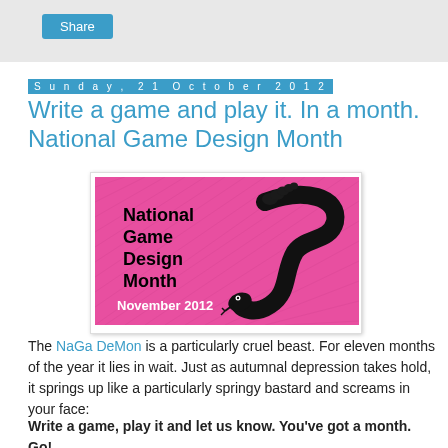Share
Sunday, 21 October 2012
Write a game and play it. In a month. National Game Design Month
[Figure (illustration): National Game Design Month banner image on pink background with a snake illustration and text 'National Game Design Month November 2012']
The NaGa DeMon is a particularly cruel beast. For eleven months of the year it lies in wait. Just as autumnal depression takes hold, it springs up like a particularly springy bastard and screams in your face:
Write a game, play it and let us know. You've got a month. Go!